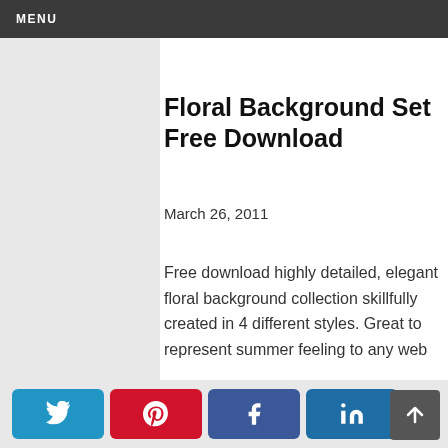MENU
g p
Floral Background Set Free Download
March 26, 2011
Free download highly detailed, elegant floral background collection skillfully created in 4 different styles. Great to represent summer feeling to any web or print related project.